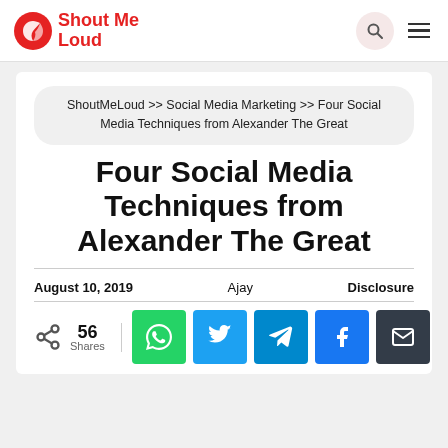ShoutMe Loud
ShoutMeLoud >> Social Media Marketing >> Four Social Media Techniques from Alexander The Great
Four Social Media Techniques from Alexander The Great
August 10, 2019   Ajay   Disclosure
56 Shares